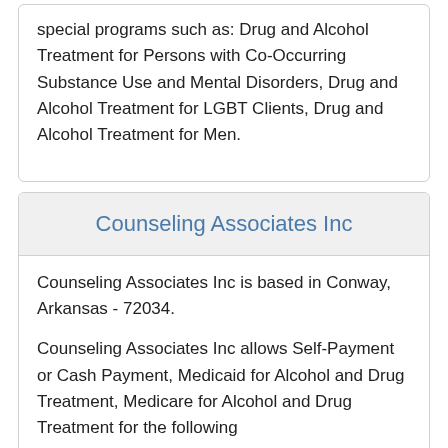special programs such as: Drug and Alcohol Treatment for Persons with Co-Occurring Substance Use and Mental Disorders, Drug and Alcohol Treatment for LGBT Clients, Drug and Alcohol Treatment for Men.
Counseling Associates Inc
Counseling Associates Inc is based in Conway, Arkansas - 72034.
Counseling Associates Inc allows Self-Payment or Cash Payment, Medicaid for Alcohol and Drug Treatment, Medicare for Alcohol and Drug Treatment for the following